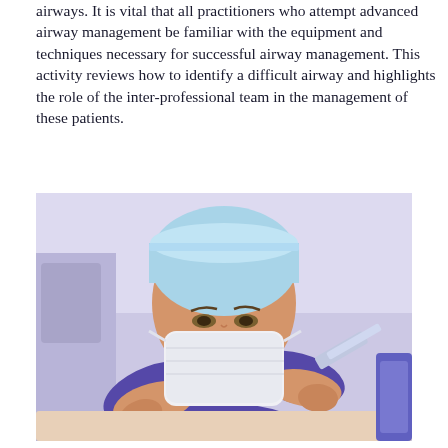airways. It is vital that all practitioners who attempt advanced airway management be familiar with the equipment and techniques necessary for successful airway management. This activity reviews how to identify a difficult airway and highlights the role of the inter-professional team in the management of these patients.
[Figure (photo): A medical professional wearing blue surgical scrubs, a light blue surgical cap, and a white face mask, leaning over and performing a procedure on a patient. The practitioner is using both hands and appears to be managing an airway or performing intubation.]